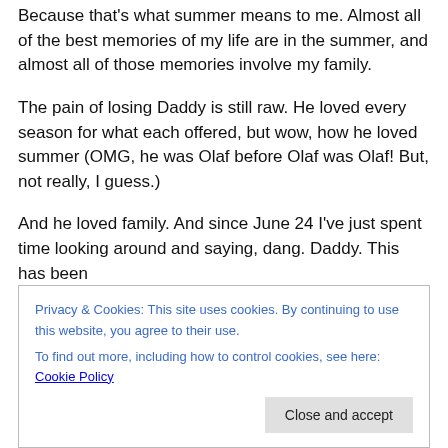Because that's what summer means to me. Almost all of the best memories of my life are in the summer, and almost all of those memories involve my family.
The pain of losing Daddy is still raw. He loved every season for what each offered, but wow, how he loved summer (OMG, he was Olaf before Olaf was Olaf! But, not really, I guess.)
And he loved family. And since June 24 I've just spent time looking around and saying, dang. Daddy. This has been
Privacy & Cookies: This site uses cookies. By continuing to use this website, you agree to their use.
To find out more, including how to control cookies, see here: Cookie Policy
Close and accept